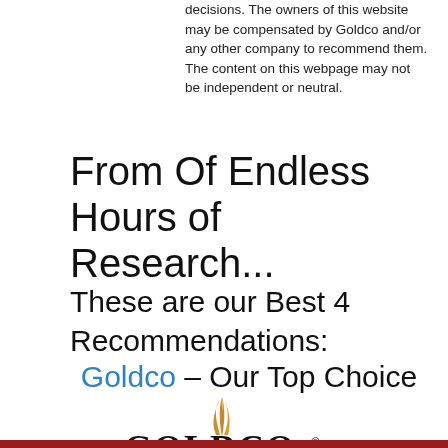decisions. The owners of this website may be compensated by Goldco and/or any other company to recommend them. The content on this webpage may not be independent or neutral.
From Of Endless Hours of Research...
These are our Best 4 Recommendations:
Goldco – Our Top Choice
[Figure (logo): Goldco logo with golden feather swoosh and bold GOLDCO text with registered trademark symbol]